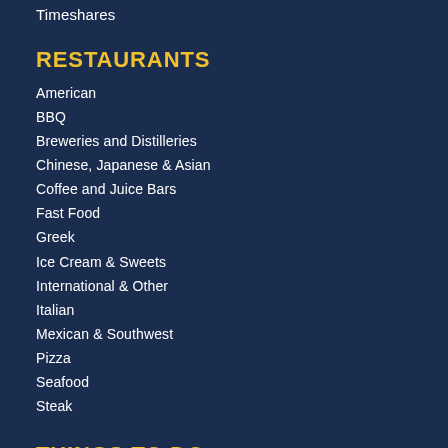Timeshares
RESTAURANTS
American
BBQ
Breweries and Distilleries
Chinese, Japanese & Asian
Coffee and Juice Bars
Fast Food
Greek
Ice Cream & Sweets
International & Other
Italian
Mexican & Southwest
Pizza
Seafood
Steak
THINGS TO DO
Amusements and Amusement Parks
Bicycling and Biking
Charter Fishing
Churches
Outdoor and Adventure Tours